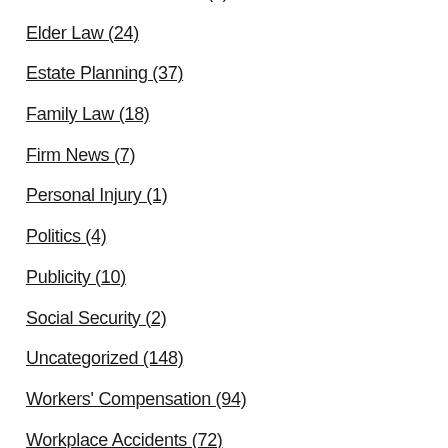Construction Accidents (1)
Elder Law (24)
Estate Planning (37)
Family Law (18)
Firm News (7)
Personal Injury (1)
Politics (4)
Publicity (10)
Social Security (2)
Uncategorized (148)
Workers' Compensation (94)
Workplace Accidents (72)